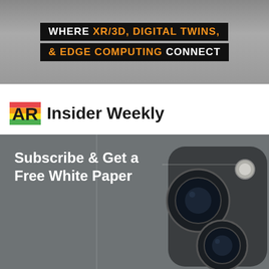[Figure (infographic): Dark banner advertisement with text: WHERE XR/3D, DIGITAL TWINS, & EDGE COMPUTING CONNECT on black background with orange and white text]
AR Insider Weekly
[Figure (photo): Close-up photo of a smartphone (likely iPhone) camera module on gray background with text 'Subscribe & Get a Free White Paper' overlaid in white bold text]